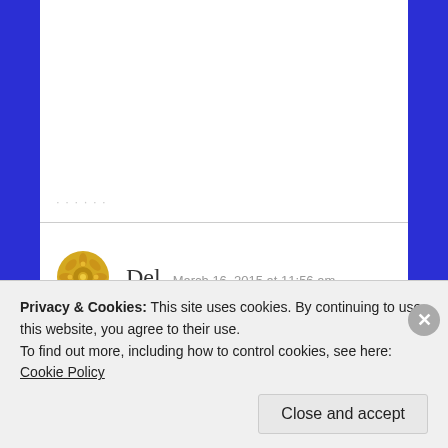Del   March 16, 2015 at 11:56 am
Hi Mark. I want to get serious about training but I haven't been able to find a partner to train with. Is it possible to engage in a serious training routine by myself? I'm worried that I'm simply making excuses. Thanks!
Privacy & Cookies: This site uses cookies. By continuing to use this website, you agree to their use.
To find out more, including how to control cookies, see here: Cookie Policy
Close and accept